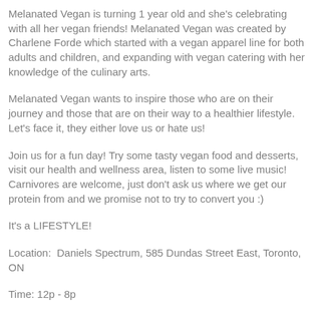Melanated Vegan is turning 1 year old and she's celebrating with all her vegan friends! Melanated Vegan was created by Charlene Forde which started with a vegan apparel line for both adults and children, and expanding with vegan catering with her knowledge of the culinary arts.
Melanated Vegan wants to inspire those who are on their journey and those that are on their way to a healthier lifestyle. Let's face it, they either love us or hate us!
Join us for a fun day! Try some tasty vegan food and desserts, visit our health and wellness area, listen to some live music! Carnivores are welcome, just don't ask us where we get our protein from and we promise not to try to convert you :)
It's a LIFESTYLE!
Location:  Daniels Spectrum, 585 Dundas Street East, Toronto, ON
Time: 12p - 8p